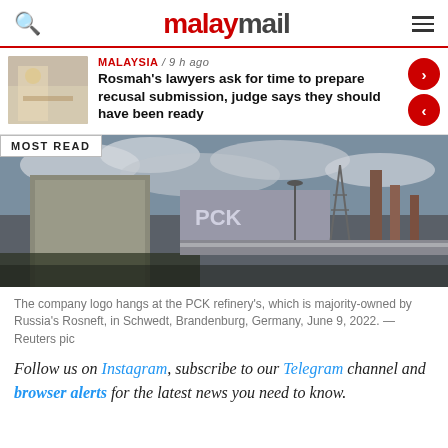malaymail
MALAYSIA / 9 h ago
Rosmah's lawyers ask for time to prepare recusal submission, judge says they should have been ready
[Figure (photo): Exterior view of PCK refinery building with industrial chimneys and a cloudy sky, Schwedt, Brandenburg, Germany]
The company logo hangs at the PCK refinery's, which is majority-owned by Russia's Rosneft, in Schwedt, Brandenburg, Germany, June 9, 2022. — Reuters pic
Follow us on Instagram, subscribe to our Telegram channel and browser alerts for the latest news you need to know.